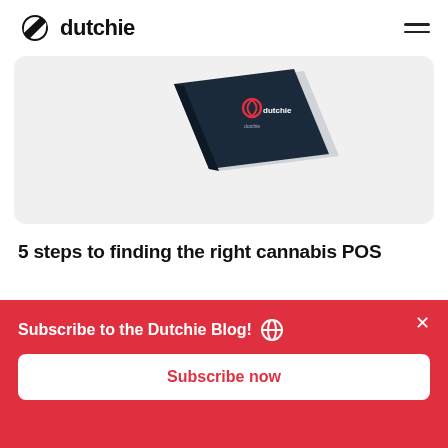dutchie
[Figure (photo): Partial view of a dark navy branded Dutchie booklet/guide with the Dutchie logo visible on a light gray background]
5 steps to finding the right cannabis POS
[Figure (other): Dark navy card partially visible at bottom of content area]
Subscribe to the Dutchie Blog!
Subscribe now